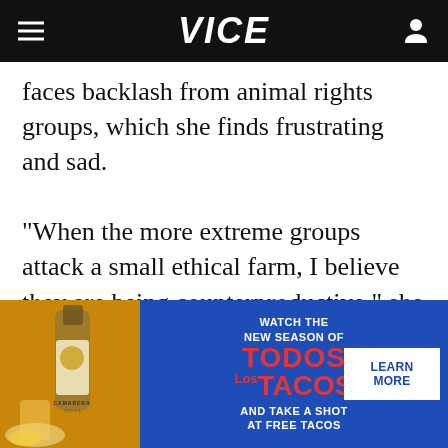VICE
faces backlash from animal rights groups, which she finds frustrating and sad.

"When the more extreme groups attack a small ethical farm, I believe they are being counterproductive," she says. "I understand we have different belief systems, but we have similar goals. On farms like ours, the animals are treated well until their death. In factory farms,
[Figure (photo): Advertisement banner for Camarena Tequila featuring a bottle of tequila with cocktail glass, alongside a blue background with text promoting 'Watch the New Season of Todos Los Tacos and Take a Shot at Free Tacos' with a Learn More button.]